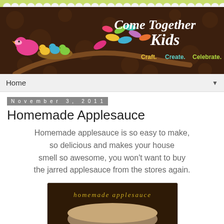[Figure (illustration): Come Together Kids blog banner with brown polka-dot background, colorful birds on a branch with leaves, and text 'Come Together Kids - Craft. Create. Celebrate.' with scalloped green border at top]
Home ▼
November 3, 2011
Homemade Applesauce
Homemade applesauce is so easy to make, so delicious and makes your house smell so awesome, you won't want to buy the jarred applesauce from the stores again.
[Figure (photo): Recipe image with dark brown background showing 'homemade applesauce' text in yellow/gold and a bowl of applesauce]